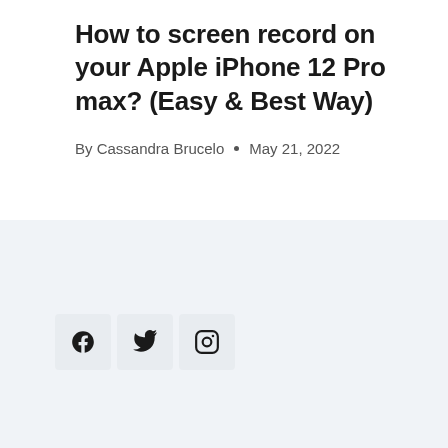How to screen record on your Apple iPhone 12 Pro max? (Easy & Best Way)
By Cassandra Brucelo • May 21, 2022
[Figure (other): Social media icon buttons for Facebook, Twitter, and Instagram]